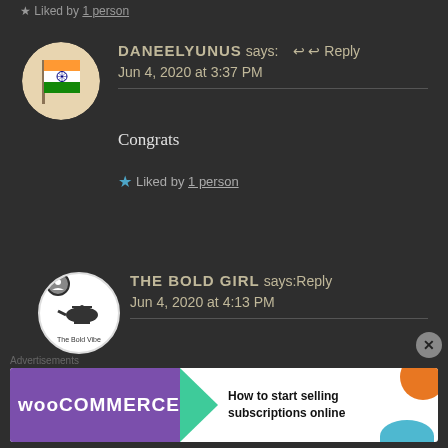Liked by 1 person
DANEELYUNUS says: ↩ Reply
Jun 4, 2020 at 3:37 PM
Congrats
★ Liked by 1 person
[Figure (photo): Circular avatar showing Indian flag waving]
THE BOLD GIRL says:↩Reply
Jun 4, 2020 at 4:13 PM
Thank you, Yunus! That's what
[Figure (logo): The Bold Vibe logo - helicopter icon in white circle]
Advertisements
[Figure (infographic): WooCommerce advertisement - How to start selling subscriptions online]